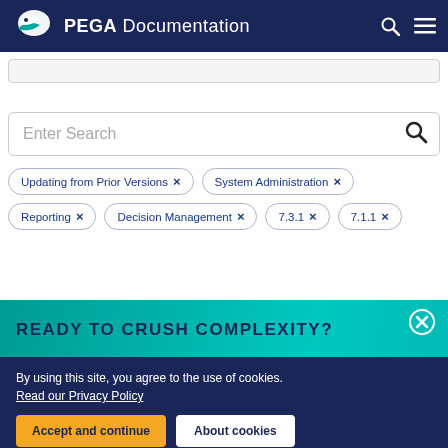PEGA Documentation
[Figure (screenshot): Partially visible search bar at top of page]
[Figure (screenshot): Large search input box with placeholder text 'Enter Search' and a search icon]
Updating from Prior Versions × System Administration × Reporting × Decision Management × 7.3.1 × 7.1.1 ×
READY TO CRUSH COMPLEXITY?
By using this site, you agree to the use of cookies. Read our Privacy Policy
Accept and continue   About cookies